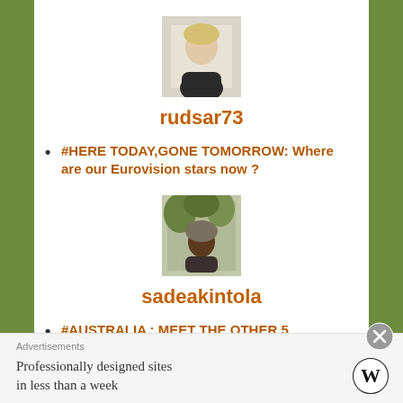[Figure (photo): Profile photo of a blonde woman]
rudsar73
#HERE TODAY,GONE TOMORROW: Where are our Eurovision stars now ?
[Figure (photo): Profile photo of a person outdoors with foliage]
sadeakintola
#AUSTRALIA : MEET THE OTHER 5 ARTISTS!
Advertisements
Professionally designed sites in less than a week